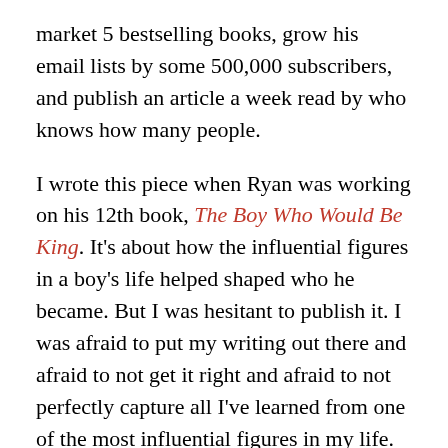market 5 bestselling books, grow his email lists by some 500,000 subscribers, and publish an article a week read by who knows how many people.
I wrote this piece when Ryan was working on his 12th book, The Boy Who Would Be King. It's about how the influential figures in a boy's life helped shaped who he became. But I was hesitant to publish it. I was afraid to put my writing out there and afraid to not get it right and afraid to not perfectly capture all I've learned from one of the most influential figures in my life.
Then I got my copy of Ryan's 13th book,